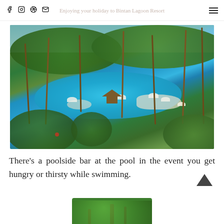Enjoying your holiday to Bintan Lagoon Resort
[Figure (photo): Aerial view of a large tropical resort swimming pool surrounded by palm trees, lush greenery, with a thatched-roof hut bar in the center of the pool area and beach umbrellas scattered around.]
There's a poolside bar at the pool in the event you get hungry or thirsty while swimming.
[Figure (photo): Partial bottom image showing tropical greenery and palm trees, cropped at the bottom of the page.]